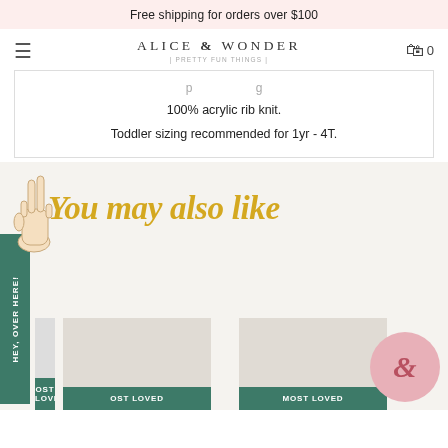Free shipping for orders over $100
[Figure (screenshot): Alice & Wonder navigation bar with hamburger menu, logo, and cart icon showing 0 items]
100% acrylic rib knit.
Toddler sizing recommended for 1yr - 4T.
You may also like
[Figure (illustration): Peace hand sign illustration and side tab reading HEY, OVER HERE!]
MOST LOVED
MOST LOVED